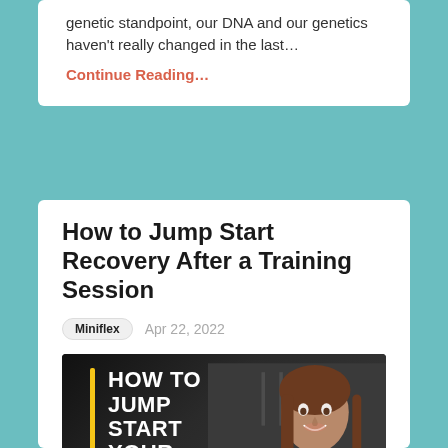genetic standpoint, our DNA and our genetics haven't really changed in the last…
Continue Reading...
How to Jump Start Recovery After a Training Session
Miniflex   Apr 22, 2022
[Figure (photo): Dark background fitness image with text overlay reading 'HOW TO JUMP START YOUR RECOVERY' with a yellow vertical bar accent and a smiling woman in workout attire]